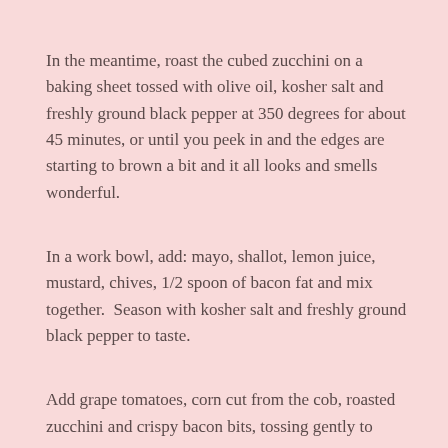In the meantime, roast the cubed zucchini on a baking sheet tossed with olive oil, kosher salt and freshly ground black pepper at 350 degrees for about 45 minutes, or until you peek in and the edges are starting to brown a bit and it all looks and smells wonderful.
In a work bowl, add: mayo, shallot, lemon juice, mustard, chives, 1/2 spoon of bacon fat and mix together.  Season with kosher salt and freshly ground black pepper to taste.
Add grape tomatoes, corn cut from the cob, roasted zucchini and crispy bacon bits, tossing gently to coat.